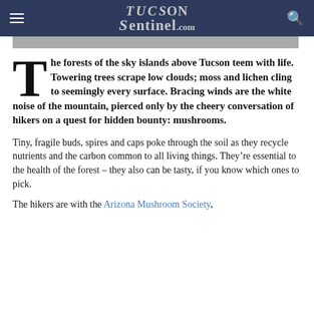TucSon Sentinel.com
[Figure (photo): Gray image banner below header]
The forests of the sky islands above Tucson teem with life. Towering trees scrape low clouds; moss and lichen cling to seemingly every surface. Bracing winds are the white noise of the mountain, pierced only by the cheery conversation of hikers on a quest for hidden bounty: mushrooms.
Tiny, fragile buds, spires and caps poke through the soil as they recycle nutrients and the carbon common to all living things. They’re essential to the health of the forest – they also can be tasty, if you know which ones to pick.
The hikers are with the Arizona Mushroom Society,